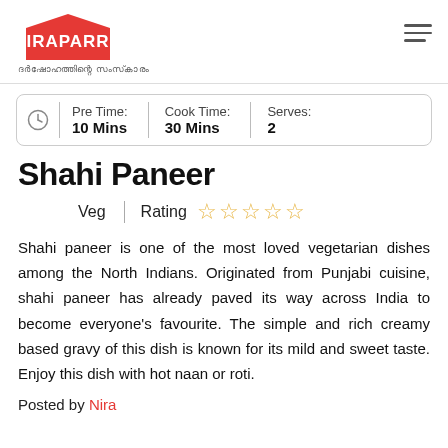Niraparra logo with Malayalam tagline
Pre Time: 10 Mins | Cook Time: 30 Mins | Serves: 2
Shahi Paneer
Veg | Rating ☆☆☆☆☆
Shahi paneer is one of the most loved vegetarian dishes among the North Indians. Originated from Punjabi cuisine, shahi paneer has already paved its way across India to become everyone's favourite. The simple and rich creamy based gravy of this dish is known for its mild and sweet taste. Enjoy this dish with hot naan or roti.
Posted by Nira...